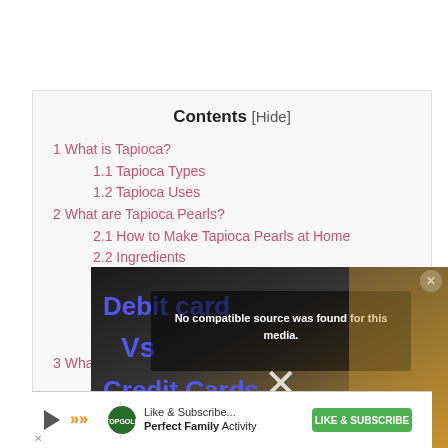Contents [Hide]
1 What is Tapioca?
1.1 Tapioca Types
1.2 Tapioca Uses
2 What are Tapioca Pearls?
2.1 How to Make Tapioca Pearls at Home
2.2 Ingredients
2.3 Instructions
2.3.1 Preparing the Dough
2.3.2 Forming the Pearls
2.3.3 Cooking
3 What is Tapioca?
[Figure (screenshot): Advertisement overlay showing 'Debit Card vs Credit Cards' video ad with 'No compatible source was found for this media' message and a close button. Below is a Topgolf advertisement banner.]